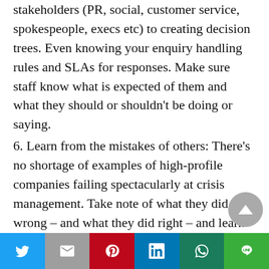stakeholders (PR, social, customer service, spokespeople, execs etc) to creating decision trees. Even knowing your enquiry handling rules and SLAs for responses. Make sure staff know what is expected of them and what they should or shouldn't be doing or saying.
6. Learn from the mistakes of others: There's no shortage of examples of high-profile companies failing spectacularly at crisis management. Take note of what they did wrong – and what they did right – and learn from it.
Failure to prepare or taking a conscious decision to not activate a crisis communications plan is as
[Figure (other): Social sharing bar with Twitter, Gmail/Email, Pinterest, LinkedIn, WhatsApp, and LINE buttons]